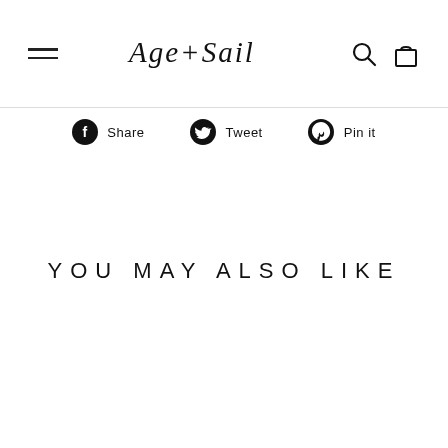Age+Sail
Share  Tweet  Pin it
YOU MAY ALSO LIKE